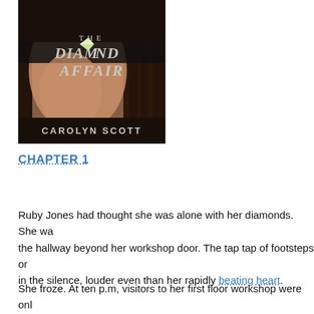[Figure (illustration): Book cover for 'The Diamond Affair' by Carolyn Scott. Dark background showing a woman's torso, with silver/white stylized text. The 'O' in Diamond is replaced by a diamond gemstone graphic.]
CHAPTER 1
Ruby Jones had thought she was alone with her diamonds. She was wrong. A sound had alerted her — a soft scraping noise in the hallway beyond her workshop door. The tap tap of footsteps on marble rang out in the silence, louder even than her rapidly beating heart.
She froze. At ten p.m, visitors to her first floor workshop were only...